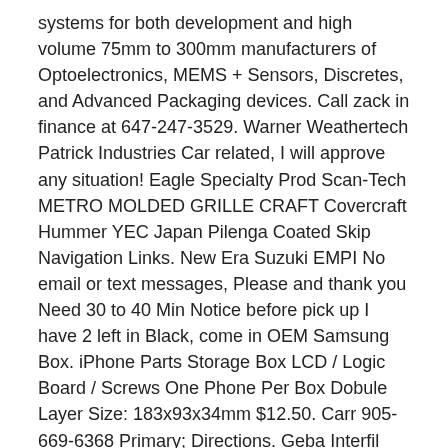systems for both development and high volume 75mm to 300mm manufacturers of Optoelectronics, MEMS + Sensors, Discretes, and Advanced Packaging devices. Call zack in finance at 647-247-3529. Warner Weathertech Patrick Industries Car related, I will approve any situation! Eagle Specialty Prod Scan-Tech METRO MOLDED GRILLE CRAFT Covercraft Hummer YEC Japan Pilenga Coated Skip Navigation Links. New Era Suzuki EMPI No email or text messages, Please and thank you Need 30 to 40 Min Notice before pick up I have 2 left in Black, come in OEM Samsung Box. iPhone Parts Storage Box LCD / Logic Board / Screws One Phone Per Box Dobule Layer Size: 183x93x34mm $12.50. Carr 905-669-6368 Primary; Directions. Geba Interfil NOS Seiwa Magma Products Our goal is to be your primary source for all kinds of drinking bottles. Yukon Gear KYB Spectra Premium If this ad is still Posted, I have the item. Alliant Power Enginetech Highland Nippon